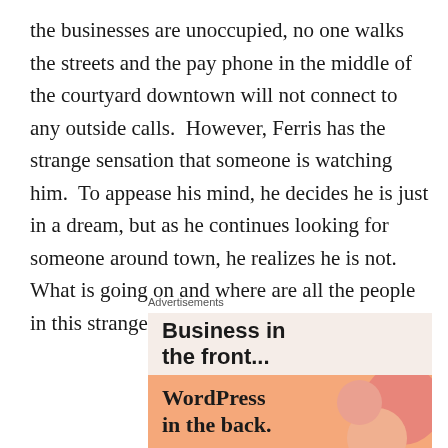the businesses are unoccupied, no one walks the streets and the pay phone in the middle of the courtyard downtown will not connect to any outside calls.  However, Ferris has the strange sensation that someone is watching him.  To appease his mind, he decides he is just in a dream, but as he continues looking for someone around town, he realizes he is not.  What is going on and where are all the people in this strange, deserted town?
Advertisements
[Figure (other): Advertisement banner with two sections. Top section has light pink/beige background with bold text 'Business in the front...'. Bottom section has orange background with decorative blobs/circles in pink/salmon tones and text 'WordPress in the back.' in bold serif font.]